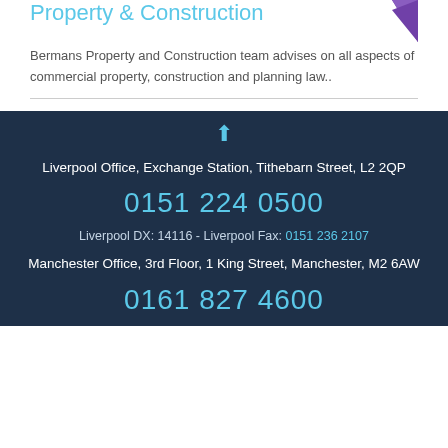Property & Construction
Bermans Property and Construction team advises on all aspects of commercial property, construction and planning law..
Liverpool Office, Exchange Station, Tithebarn Street, L2 2QP
0151 224 0500
Liverpool DX: 14116 - Liverpool Fax: 0151 236 2107
Manchester Office, 3rd Floor, 1 King Street, Manchester, M2 6AW
0161 827 4600